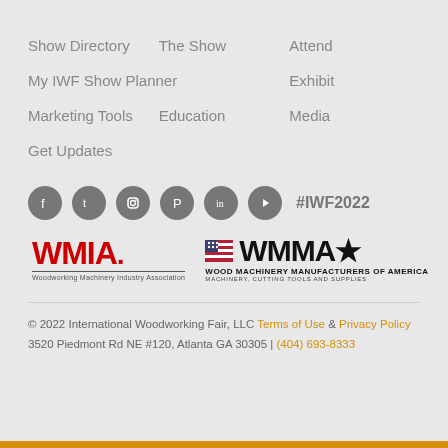Show Directory
The Show
Attend
My IWF Show Planner
Exhibit
Marketing Tools
Education
Media
Get Updates
[Figure (logo): Social media icons (Facebook, Twitter, Instagram, Pinterest, LinkedIn, YouTube) and hashtag #IWF2022]
[Figure (logo): WMIA - Woodworking Machinery Industry Association logo in red]
[Figure (logo): WMMA - Wood Machinery Manufacturers of America logo with American flag element]
© 2022 International Woodworking Fair, LLC Terms of Use & Privacy Policy
3520 Piedmont Rd NE #120, Atlanta GA 30305 | (404) 693-8333